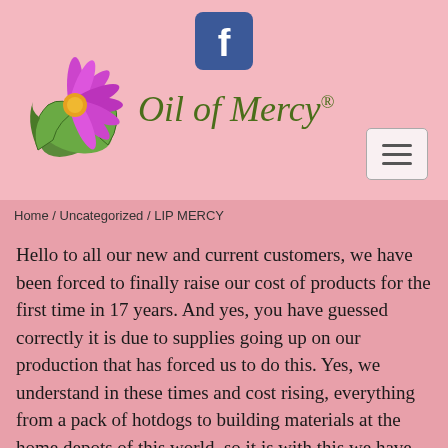[Figure (logo): Facebook 'f' logo icon, blue square with white f]
[Figure (logo): Oil of Mercy brand logo: purple flower with green holly leaves and yellow center, next to italic green text 'Oil of Mercy®']
Home / Uncategorized / LIP MERCY
Hello to all our new and current customers, we have been forced to finally raise our cost of products for the first time in 17 years. And yes, you have guessed correctly it is due to supplies going up on our production that has forced us to do this. Yes, we understand in these times and cost rising, everything from a pack of hotdogs to building materials at the home depots of this world, so it is with this we have had to increase our pricing slightly. We of course hope you will continue to use our products that you have found to be so effective.